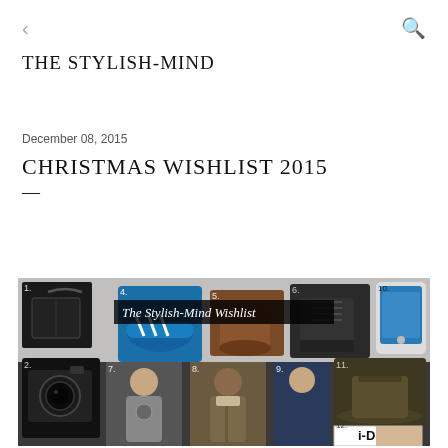THE STYLISH-MIND
December 08, 2015
CHRISTMAS WISHLIST 2015
—
[Figure (illustration): The Stylish-Mind Wishlist collage showing numbered wish-list items: 1. black handbag, 2. DSLR camera, 4. blue Adidas sneakers, 5. brown Chelsea boots, 6. black combat boots, 7. men's graphic sweatshirt, 8. men's khaki shearling jacket, 9. men's navy puffer jacket, 10. Samsung Galaxy smartphone, 11. olive felt fedora hat, 12. i-D magazine]